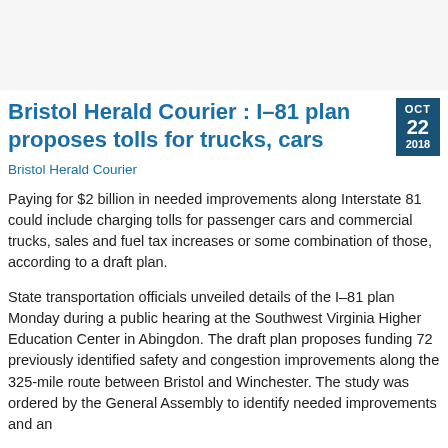Bristol Herald Courier : I–81 plan proposes tolls for trucks, cars
Bristol Herald Courier
Paying for $2 billion in needed improvements along Interstate 81 could include charging tolls for passenger cars and commercial trucks, sales and fuel tax increases or some combination of those, according to a draft plan.
State transportation officials unveiled details of the I–81 plan Monday during a public hearing at the Southwest Virginia Higher Education Center in Abingdon. The draft plan proposes funding 72 previously identified safety and congestion improvements along the 325-mile route between Bristol and Winchester. The study was ordered by the General Assembly to identify needed improvements and an